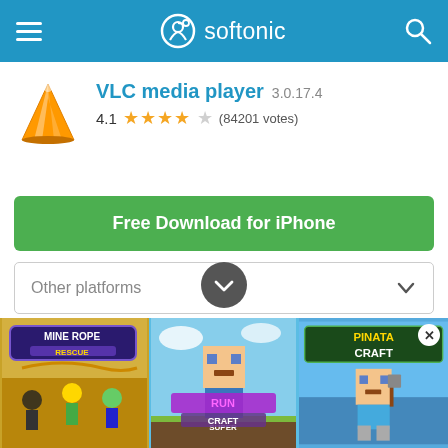softonic
VLC media player 3.0.17.4
4.1 ★★★★☆ (84201 votes)
Free Download for iPhone
Other platforms
A hassle-free, easy to use, and free media player
VLC Media Player is a free-to-use, robust, and feature-packed software that plays a wide range of audio, images, and video files. It can play multimedia...
Windows | Mac | Android | iPhone | all video player | android
android for windows 10 | audio interface | audio interface for windows
[Figure (screenshot): Advertisement banner showing three mobile game ads: Mine Rope Rescue, Super Run Craft, and Pinata Craft]